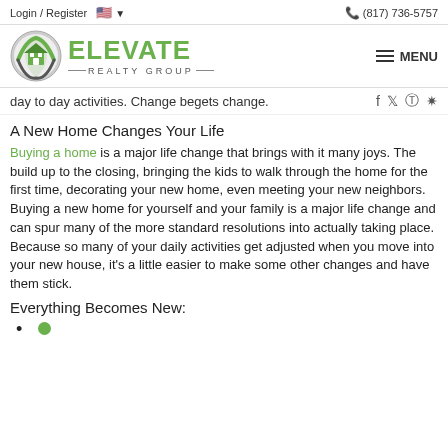Login / Register   (817) 736-5757
[Figure (logo): Elevate Realty Group logo with green house icon and green ELEVATE text above REALTY GROUP]
day to day activities.  Change begets change.
A New Home Changes Your Life
Buying a home is a major life change that brings with it many joys.  The build up to the closing, bringing the kids to walk through the home for the first time, decorating your new home, even meeting your new neighbors.   Buying a new home for yourself and your family is a major life change and can spur many of the more standard resolutions into actually taking place.  Because so many of your daily activities get adjusted when you move into your new house, it's a little easier to make some other changes and have them stick.
Everything Becomes New: